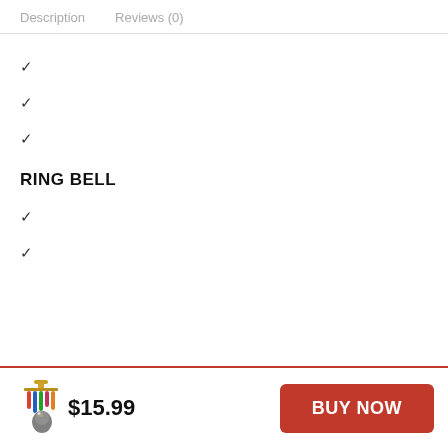Description   Reviews (0)
✓
✓
✓
RING BELL
✓
✓
$15.99   BUY NOW